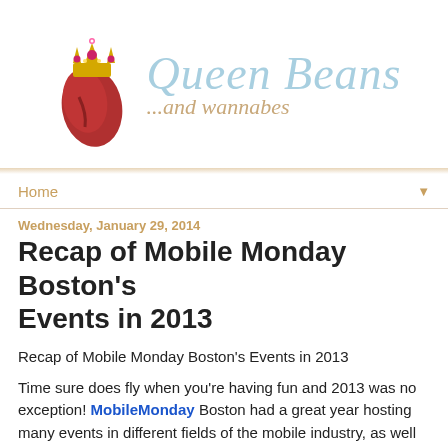[Figure (logo): Queen Beans ...and wannabes blog logo with a red kidney bean wearing a gold crown, next to the cursive text 'Queen Beans ...and wannabes' in light blue and tan colors]
Home ▼
Wednesday, January 29, 2014
Recap of Mobile Monday Boston's Events in 2013
Recap of Mobile Monday Boston's Events in 2013
Time sure does fly when you're having fun and 2013 was no exception! MobileMonday Boston had a great year hosting many events in different fields of the mobile industry, as well